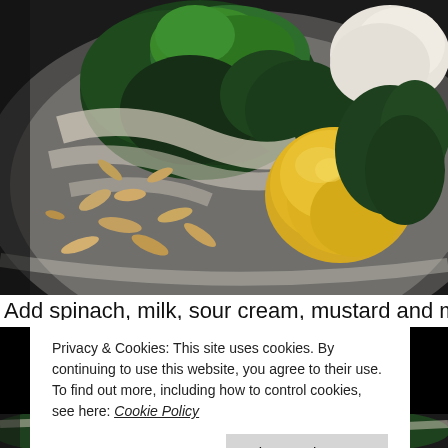[Figure (photo): Close-up food photo of a dish on a dark plate with creamed spinach with dill, toasted almond slivers, a large dollop of yellow mustard/hollandaise sauce, and white cream sauce.]
Add spinach, milk, sour cream, mustard and mayon
Privacy & Cookies: This site uses cookies. By continuing to use this website, you agree to their use.
To find out more, including how to control cookies, see here: Cookie Policy
Close and accept
[Figure (photo): Bottom portion of food photo showing more of the creamed spinach dish with almonds.]